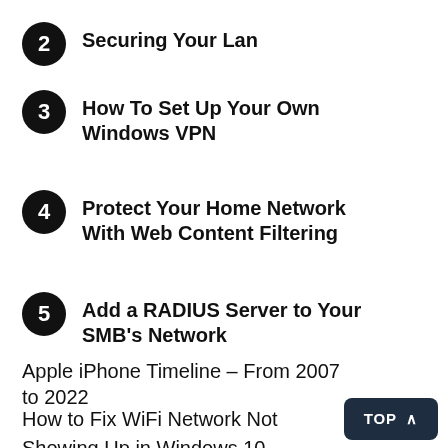2 Securing Your Lan
3 How To Set Up Your Own Windows VPN
4 Protect Your Home Network With Web Content Filtering
5 Add a RADIUS Server to Your SMB's Network
Apple iPhone Timeline – From 2007 to 2022
How to Fix WiFi Network Not Showing Up in Windows 10
Windows 10 Wireless Adapter Missing: How to Fix It